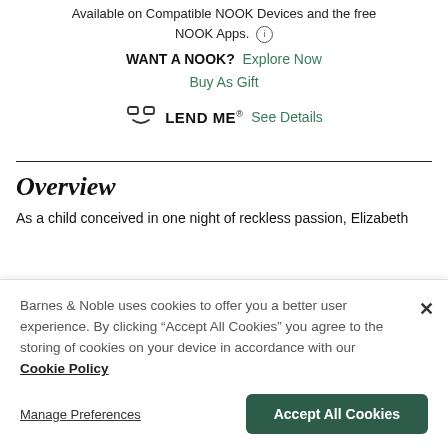Available on Compatible NOOK Devices and the free NOOK Apps. ⓘ
WANT A NOOK? Explore Now
Buy As Gift
LEND ME® See Details
Overview
As a child conceived in one night of reckless passion, Elizabeth
Barnes & Noble uses cookies to offer you a better user experience. By clicking "Accept All Cookies" you agree to the storing of cookies on your device in accordance with our Cookie Policy
Manage Preferences
Accept All Cookies